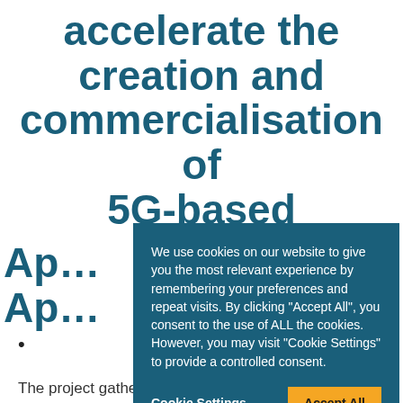accelerate the creation and commercialisation of 5G-based Applications
The project gathers 16 partners from 8
[Figure (screenshot): Cookie consent modal dialog with teal background. Text reads: 'We use cookies on our website to give you the most relevant experience by remembering your preferences and repeat visits. By clicking "Accept All", you consent to the use of ALL the cookies. However, you may visit "Cookie Settings" to provide a controlled consent.' Buttons: 'Cookie Settings' (text) and 'Accept All' (orange button).]